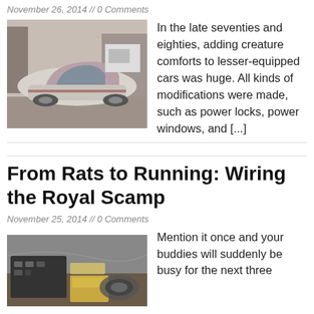November 26, 2014 // 0 Comments
[Figure (photo): Old muscle car in a garage, dusty and partially disassembled, pinkish/white paint]
In the late seventies and eighties, adding creature comforts to lesser-equipped cars was huge. All kinds of modifications were made, such as power locks, power windows, and [...]
From Rats to Running: Wiring the Royal Scamp
November 25, 2014 // 0 Comments
[Figure (photo): Wiring components and boxes on a table, electrical parts for car wiring project]
Mention it once and your buddies will suddenly be busy for the next three